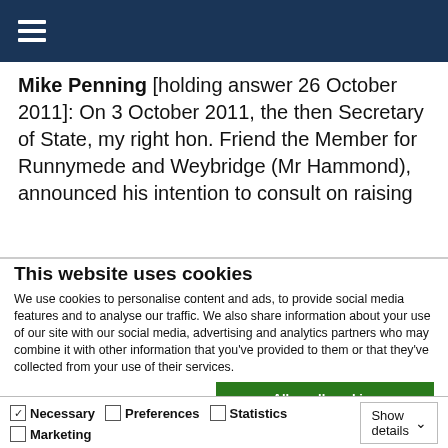Mike Penning [holding answer 26 October 2011]: On 3 October 2011, the then Secretary of State, my right hon. Friend the Member for Runnymede and Weybridge (Mr Hammond), announced his intention to consult on raising
This website uses cookies
We use cookies to personalise content and ads, to provide social media features and to analyse our traffic. We also share information about your use of our site with our social media, advertising and analytics partners who may combine it with other information that you've provided to them or that they've collected from your use of their services.
Allow all cookies
Allow selection
Use necessary cookies only
Necessary  Preferences  Statistics  Marketing  Show details